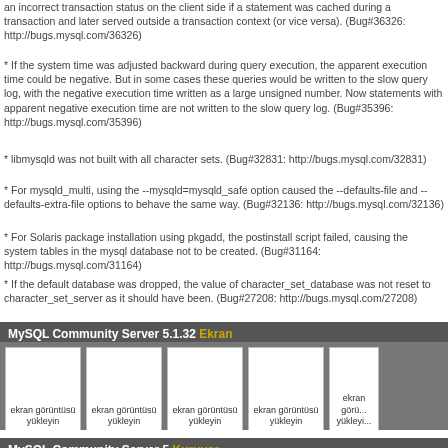an incorrect transaction status on the client side if a statement was cached during a transaction and later served outside a transaction context (or vice versa). (Bug#36326: http://bugs.mysql.com/36326)
* If the system time was adjusted backward during query execution, the apparent execution time could be negative. But in some cases these queries would be written to the slow query log, with the negative execution time written as a large unsigned number. Now statements with apparent negative execution time are not written to the slow query log. (Bug#35396: http://bugs.mysql.com/35396)
* libmysqld was not built with all character sets. (Bug#32831: http://bugs.mysql.com/32831)
* For mysqld_multi, using the --mysqld=mysqld_safe option caused the --defaults-file and --defaults-extra-file options to behave the same way. (Bug#32136: http://bugs.mysql.com/32136)
* For Solaris package installation using pkgadd, the postinstall script failed, causing the system tables in the mysql database not to be created. (Bug#31164: http://bugs.mysql.com/31164)
* If the default database was dropped, the value of character_set_database was not reset to character_set_server as it should have been. (Bug#27208: http://bugs.mysql.com/27208)
MySQL Community Server 5.1.32 Ekran
[Figure (screenshot): Five screenshot placeholder boxes labeled 'ekran görüntüsü yükleyin']
MySQL Community Server 5 Kuruyor